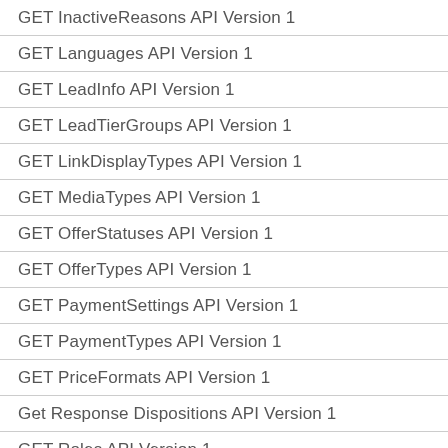GET InactiveReasons API Version 1
GET Languages API Version 1
GET LeadInfo API Version 1
GET LeadTierGroups API Version 1
GET LinkDisplayTypes API Version 1
GET MediaTypes API Version 1
GET OfferStatuses API Version 1
GET OfferTypes API Version 1
GET PaymentSettings API Version 1
GET PaymentTypes API Version 1
GET PriceFormats API Version 1
Get Response Dispositions API Version 1
GET Roles API Version 1